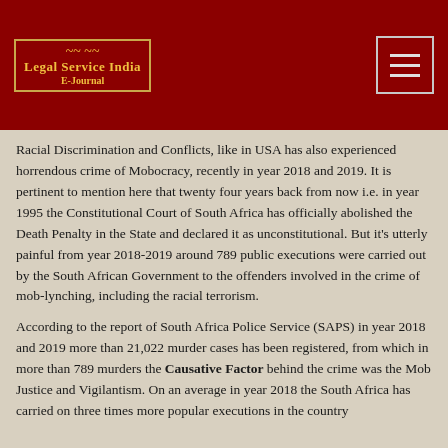Legal Service India E-Journal
Racial Discrimination and Conflicts, like in USA has also experienced horrendous crime of Mobocracy, recently in year 2018 and 2019. It is pertinent to mention here that twenty four years back from now i.e. in year 1995 the Constitutional Court of South Africa has officially abolished the Death Penalty in the State and declared it as unconstitutional. But it’s utterly painful from year 2018-2019 around 789 public executions were carried out by the South African Government to the offenders involved in the crime of mob-lynching, including the racial terrorism.
According to the report of South Africa Police Service (SAPS) in year 2018 and 2019 more than 21,022 murder cases has been registered, from which in more than 789 murders the Causative Factor behind the crime was the Mob Justice and Vigilantism. On an average in year 2018 the South Africa has carried on three times more popular executions in the country